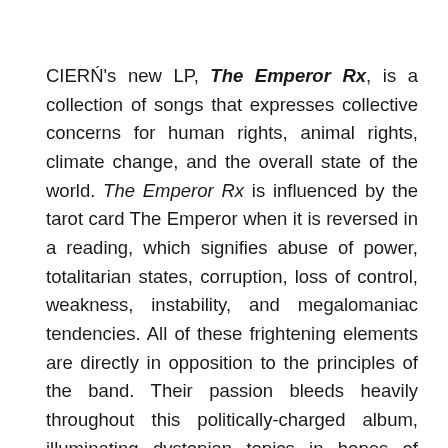CIERŃ's new LP, The Emperor Rx, is a collection of songs that expresses collective concerns for human rights, animal rights, climate change, and the overall state of the world. The Emperor Rx is influenced by the tarot card The Emperor when it is reversed in a reading, which signifies abuse of power, totalitarian states, corruption, loss of control, weakness, instability, and megalomaniac tendencies. All of these frightening elements are directly in opposition to the principles of the band. Their passion bleeds heavily throughout this politically-charged album, illuminating dystopian topics in hopes of drawing attention to political atrocities around the planet.